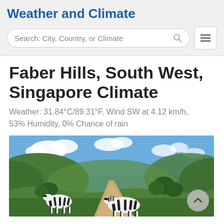Weather and Climate
Search: City, Country, or Climate
Faber Hills, South West, Singapore Climate
Weather: 31.84°C/89.31°F, Wind SW at 4.12 km/h, 53% Humidity, 0% Chance of rain
[Figure (photo): Outdoor safari landscape with zebras crossing a dirt road, green hills and blue sky with clouds in the background]